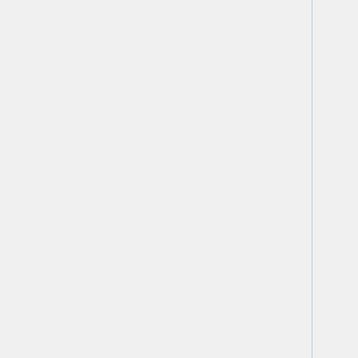| Name | ID | Device | Description |
| --- | --- | --- | --- |
| vangogh | HG01.089 | LaserJet 8550DN | transparent possible |
| ohm | HG02.002 | Ricoh Aficio MP C2500 | Duplex, A scanning copying possible |
| kelvin | HG02.089 | Ricoh Aficio MP C2500 | Duplex, A scanning copying possible |
| vermeer | HG03.002 | HP Color LaserJet 9500HDN | Duplex, A and transparent possible |
| miro | HG03.089 | Xerox Phaser 7300DX | Duplex a possible |
|  |  | HP Business | Only |